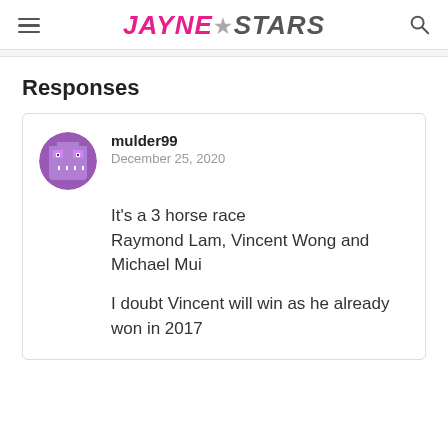≡ JAYNE★STARS 🔍
Responses
mulder99
December 25, 2020

It's a 3 horse race Raymond Lam, Vincent Wong and Michael Mui

I doubt Vincent will win as he already won in 2017